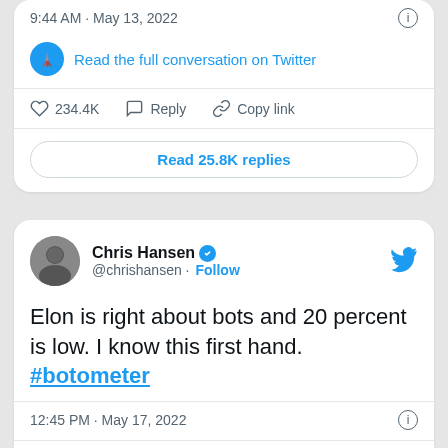[Figure (screenshot): Top portion of a Twitter/X embed card showing timestamp 9:44 AM · May 13, 2022, a link to read the full conversation on Twitter, action bar with 234.4K likes, Reply, Copy link, and a Read 25.8K replies button]
[Figure (screenshot): Twitter/X embed card for Chris Hansen (@chrishansen) with blue verified badge and Follow link. Tweet text: Elon is right about bots and 20 percent is low. I know this first hand. #botometer. Timestamp: 12:45 PM · May 17, 2022. Actions: 78 likes, Reply, Copy link.]